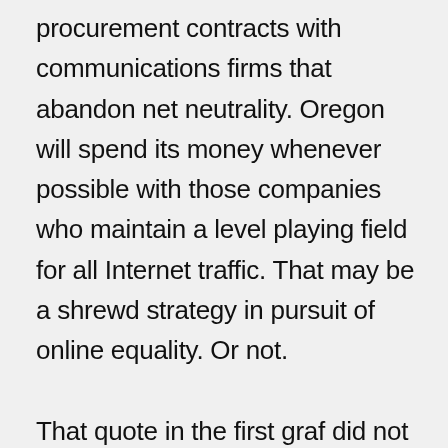procurement contracts with communications firms that abandon net neutrality. Oregon will spend its money whenever possible with those companies who maintain a level playing field for all Internet traffic. That may be a shrewd strategy in pursuit of online equality. Or not.

That quote in the first graf did not come from a disgruntled Oregon